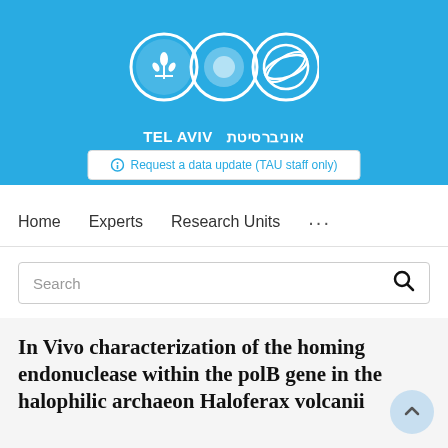[Figure (logo): Tel Aviv University logo with three circular icons (menorah/leaf, solid circle with inner circle, and globe/network ring) above the text 'TEL AVIV UNIVERSITY' in English and Hebrew (אוניברסיטת תל אביב) on a light blue background]
Request a data update (TAU staff only)
Home   Experts   Research Units   ...
Search
In Vivo characterization of the homing endonuclease within the polB gene in the halophilic archaeon Haloferax volcanii